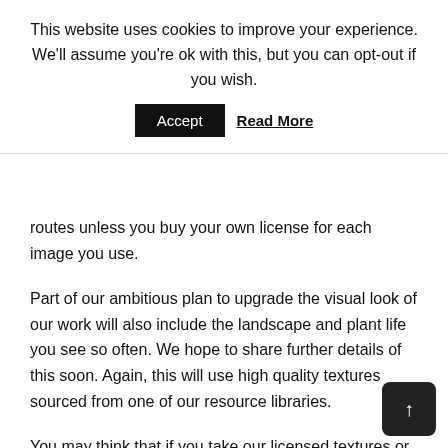This website uses cookies to improve your experience. We'll assume you're ok with this, but you can opt-out if you wish.
Accept  Read More
routes unless you buy your own license for each image you use.
Part of our ambitious plan to upgrade the visual look of our work will also include the landscape and plant life you see so often. We hope to share further details of this soon. Again, this will use high quality textures sourced from one of our resource libraries.
You may think that if you take our licensed textures or images and change them, that this now makes them ok to use. It does not. You will still need a license to or change any textures, sounds or other assets that we